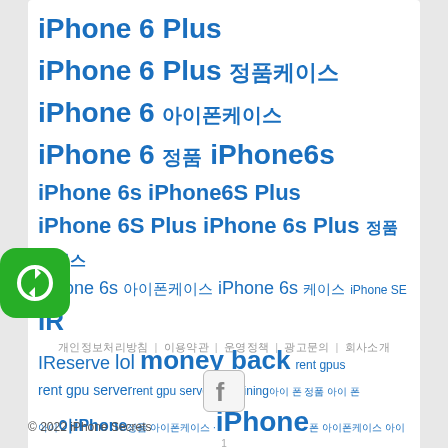iPhone 6 Plus iPhone 6 Plus 정품케이스 iPhone 6 아이폰케이스 iPhone 6 정품 iPhone6s iPhone 6s iPhone6S Plus iPhone 6S Plus iPhone 6s Plus 정품케이스 iPhone 6s 아이폰케이스 iPhone 6s 케이스 iPhone SE IR IReserve lol money back rent gpus rent gpu server rent gpu server for mining 아이 폰 정품 아이 폰 아iPhone 정품 아이폰케이스 · iPhone 폰 아이폰케이스 아이 폰 아이폰케이스 아이폰케이스 아이폰
[Figure (logo): Green rounded square icon with white circular arrow/sync symbol]
개인정보처리방침 | 이용약관 | 운영정책 | 광고문의 | 회사소개
[Figure (logo): Facebook icon in grey rounded square]
© 2022 iPhone Secrets
1